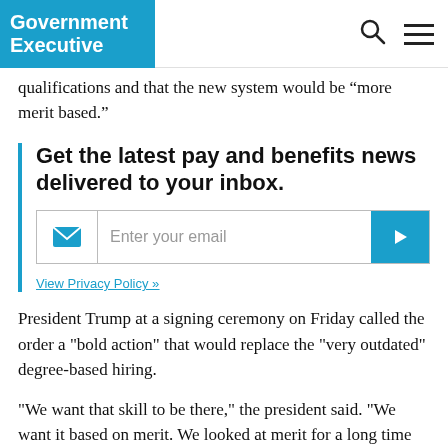Government Executive
qualifications and that the new system would be “more merit based.”
Get the latest pay and benefits news delivered to your inbox.
[Figure (other): Email newsletter signup form with envelope icon, 'Enter your email' placeholder text, and a blue submit button with right arrow]
View Privacy Policy »
President Trump at a signing ceremony on Friday called the order a "bold action" that would replace the "very outdated" degree-based hiring.
"We want that skill to be there," the president said. "We want it based on merit. We looked at merit for a long time and we were able to get that done, but today's signing is a